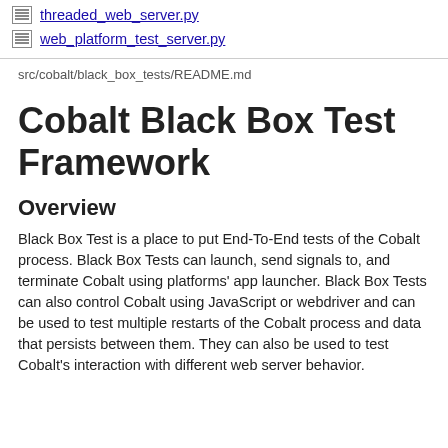threaded_web_server.py
web_platform_test_server.py
src/cobalt/black_box_tests/README.md
Cobalt Black Box Test Framework
Overview
Black Box Test is a place to put End-To-End tests of the Cobalt process. Black Box Tests can launch, send signals to, and terminate Cobalt using platforms' app launcher. Black Box Tests can also control Cobalt using JavaScript or webdriver and can be used to test multiple restarts of the Cobalt process and data that persists between them. They can also be used to test Cobalt's interaction with different web server behavior.